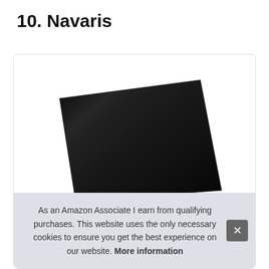10. Navaris
[Figure (photo): A black flat-screen monitor or TV displayed at an angle against a white background inside a rounded card]
As an Amazon Associate I earn from qualifying purchases. This website uses the only necessary cookies to ensure you get the best experience on our website. More information